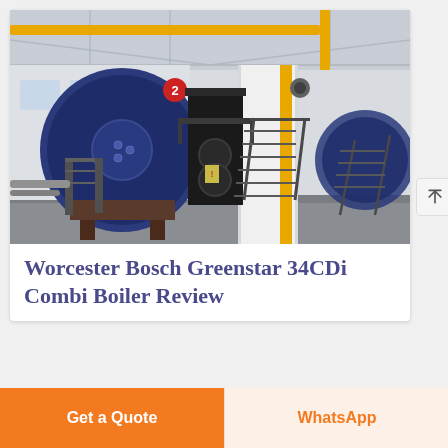[Figure (photo): Industrial boiler room with large blue cylindrical boilers, metal staircases, yellow pipes, and white structural columns in a factory setting.]
Worcester Bosch Greenstar 34CDi Combi Boiler Review
Get a Quote
WhatsApp